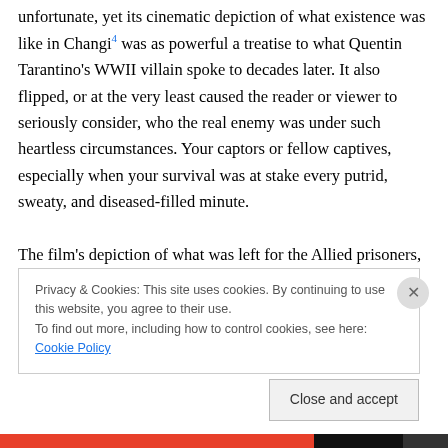unfortunate, yet its cinematic depiction of what existence was like in Changi⁴ was as powerful a treatise to what Quentin Tarantino’s WWII villain spoke to decades later. It also flipped, or at the very least caused the reader or viewer to seriously consider, who the real enemy was under such heartless circumstances. Your captors or fellow captives, especially when your survival was at stake every putrid, sweaty, and diseased-filled minute.
The film’s depiction of what was left for the Allied prisoners, mostly British and a smattering of Americans
Privacy & Cookies: This site uses cookies. By continuing to use this website, you agree to their use.
To find out more, including how to control cookies, see here: Cookie Policy
Close and accept